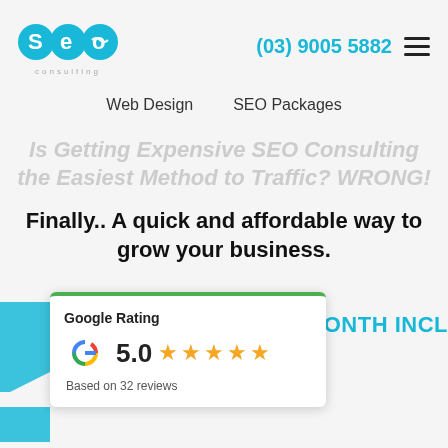[Figure (logo): SEO Consulting logo with blue/cyan circular icon and 'consulting' text underneath]
(03) 9005 5882
Web Design   SEO Packages
Is Getting Expensive SEO Consulting the Easiest Method to Traffic? WRONG!
Finally.. A quick and affordable way to grow your business.
[Figure (other): Google Rating card showing 5.0 stars based on 32 reviews, with green top border]
550/MONTH INCL